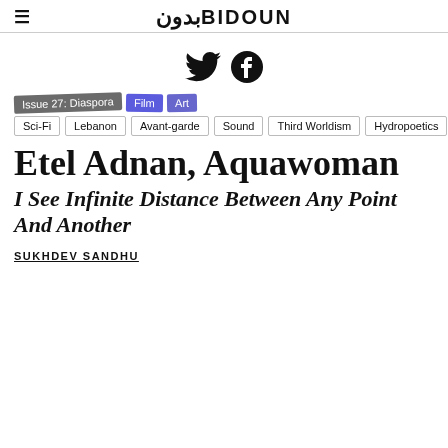≡ بدون BIDOUN
[Figure (other): Twitter and Facebook social media icons]
Issue 27: Diaspora
Film
Art
Sci-Fi
Lebanon
Avant-garde
Sound
Third Worldism
Hydropoetics
Etel Adnan
Etel Adnan, Aquawoman
I See Infinite Distance Between Any Point And Another
SUKHDEV SANDHU